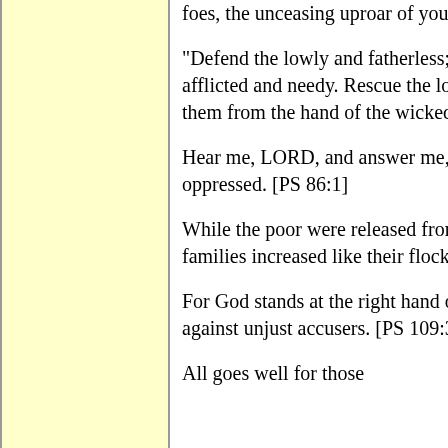foes, the unceasing uproar of your enemies. [PS 74:21-23]
"Defend the lowly and fatherless; render justice to the afflicted and needy. Rescue the lowly and poor; deliver them from the hand of the wicked." [Taken from PS 82:3-4]
Hear me, LORD, and answer me, for I am poor and oppressed. [PS 86:1]
While the poor were released from their affliction; their families increased like their flocks. [PS 107:41]
For God stands at the right hand of the poor to defend them against unjust accusers. [PS 109:31]
All goes well for those